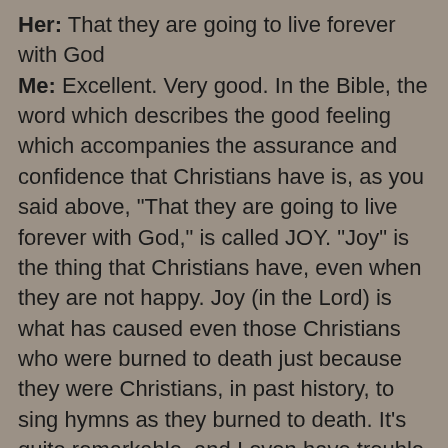Her: That they are going to live forever with God Me: Excellent. Very good. In the Bible, the word which describes the good feeling which accompanies the assurance and confidence that Christians have is, as you said above, "That they are going to live forever with God," is called JOY. "Joy" is the thing that Christians have, even when they are not happy. Joy (in the Lord) is what has caused even those Christians who were burned to death just because they were Christians, in past history, to sing hymns as they burned to death. It's quite remarkable, and I even have trouble understanding how that's even possible, but that's what has happened. So, because of "joy" (confidence in Christ) Christians can suffer in really bad situations, yet still be perfectly ok with it. Because of "joy," the bad things that God might allow Christians to experience, is not really an